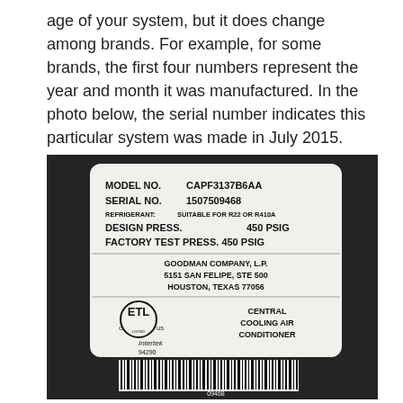age of your system, but it does change among brands. For example, for some brands, the first four numbers represent the year and month it was manufactured. In the photo below, the serial number indicates this particular system was made in July 2015.
[Figure (photo): Photo of a Goodman Company air conditioner label showing MODEL NO. CAPF3137B6AA, SERIAL NO. 1507509468, REFRIGERANT: SUITABLE FOR R22 OR R410A, DESIGN PRESS. 450 PSIG, FACTORY TEST PRESS. 450 PSIG, address at 5151 SAN FELIPE, STE 500, HOUSTON, TEXAS 77056, ETL listing mark, Intertek 94290, and a barcode.]